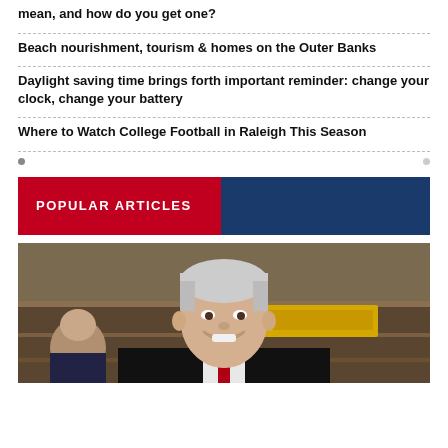mean, and how do you get one?
Beach nourishment, tourism & homes on the Outer Banks
Daylight saving time brings forth important reminder: change your clock, change your battery
Where to Watch College Football in Raleigh This Season
POPULAR ARTICLES
[Figure (photo): Smiling older white-haired man in dark suit and red tie, seated in what appears to be a legislative or formal setting with wooden furniture and a yellow sign in the background.]